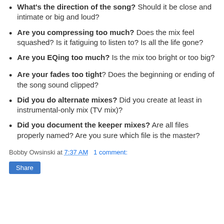What's the direction of the song? Should it be close and intimate or big and loud?
Are you compressing too much? Does the mix feel squashed? Is it fatiguing to listen to? Is all the life gone?
Are you EQing too much? Is the mix too bright or too big?
Are your fades too tight? Does the beginning or ending of the song sound clipped?
Did you do alternate mixes? Did you create at least in instrumental-only mix (TV mix)?
Did you document the keeper mixes? Are all files properly named? Are you sure which file is the master?
Bobby Owsinski at 7:37 AM   1 comment:
Share